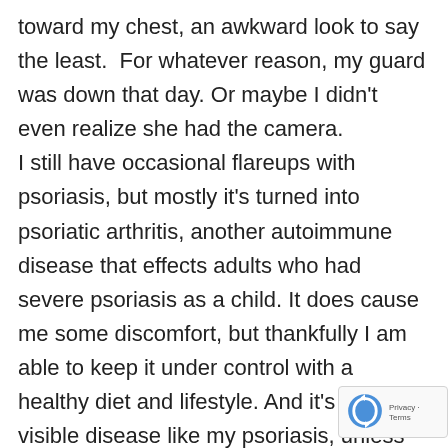toward my chest, an awkward look to say the least.  For whatever reason, my guard was down that day. Or maybe I didn't even realize she had the camera. I still have occasional flareups with psoriasis, but mostly it's turned into psoriatic arthritis, another autoimmune disease that effects adults who had severe psoriasis as a child. It does cause me some discomfort, but thankfully I am able to keep it under control with a healthy diet and lifestyle. And it's not a visible disease like my psoriasis, unless you count the subtle ways it's reshaping a few of my fingers. Every so often when I play guitar my fingers
[Figure (other): reCAPTCHA badge with rotating arrows logo and Privacy - Terms text]